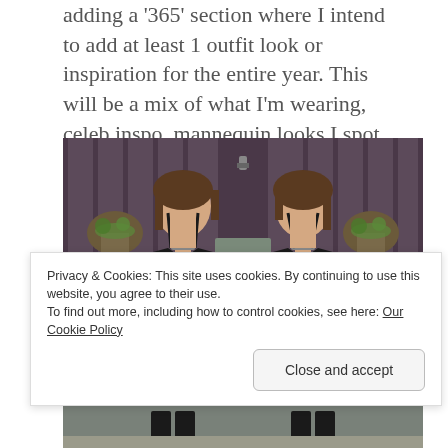adding a '365' section where I intend to add at least 1 outfit look or inspiration for the entire year. This will be a mix of what I'm wearing, celeb inspo, mannequin looks I spot when shopping, street style, what you guys are wearing or key looks from my favourite boutiques and brands.
[Figure (photo): Mirrored photo of a young woman wearing a black spaghetti-strap crop top and light pink high-waisted skirt, standing in front of a dark wooden fence with potted plants. The image is symmetrically mirrored left-to-right.]
Privacy & Cookies: This site uses cookies. By continuing to use this website, you agree to their use.
To find out more, including how to control cookies, see here: Our Cookie Policy